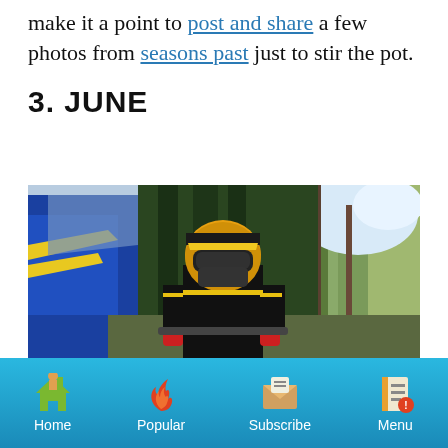make it a point to post and share a few photos from seasons past just to stir the pot.
3. JUNE
[Figure (photo): Person wearing a yellow and black helmet with goggles, dressed in black gear, riding an ATV or motorcycle in a forested outdoor setting. A blue vehicle is visible on the left side.]
Home  Popular  Subscribe  Menu